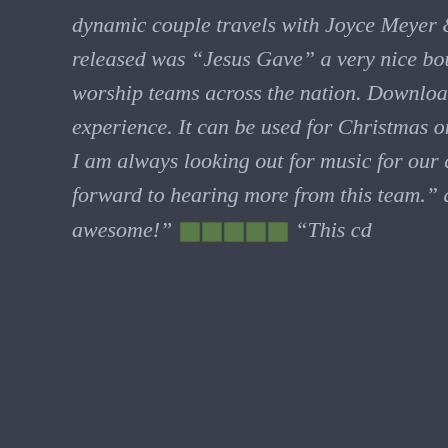dynamic couple travels with Joyce Meyer & Kenneth Copeland "The song released was "Jesus Gave" a very nice bouncy song, great for praise and worship teams across the nation. Download this song for a good worship experience. It can be used for Christmas or Easter and can be used for choirs. I am always looking out for music for our church to do that is fresh. Looking forward to hearing more from this team." author: K.W. Smith "This is awesome!" [star images] "This cd